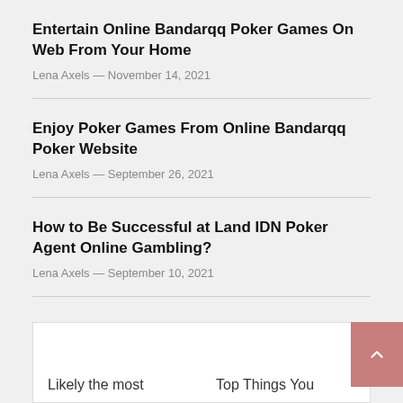Entertain Online Bandarqq Poker Games On Web From Your Home
Lena Axels — November 14, 2021
Enjoy Poker Games From Online Bandarqq Poker Website
Lena Axels — September 26, 2021
How to Be Successful at Land IDN Poker Agent Online Gambling?
Lena Axels — September 10, 2021
Likely the most
Top Things You